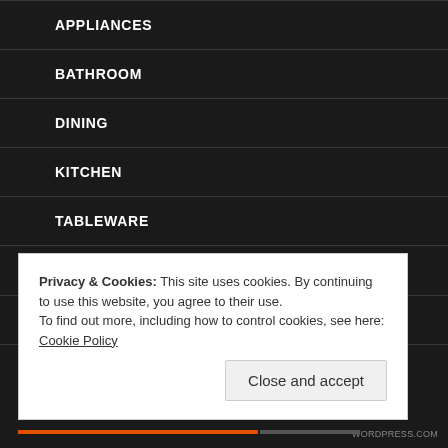APPLIANCES
BATHROOM
DINING
KITCHEN
TABLEWARE
HEALTH
FITNESS
GREEN
Privacy & Cookies: This site uses cookies. By continuing to use this website, you agree to their use.
To find out more, including how to control cookies, see here: Cookie Policy
Close and accept